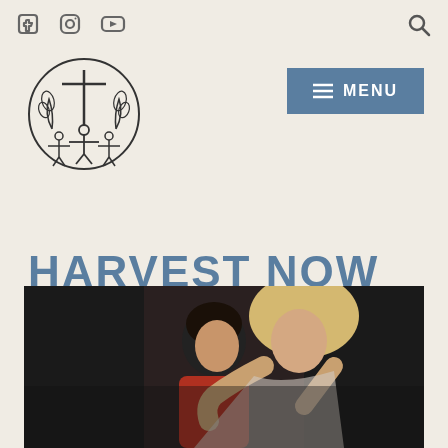Social media icons: Facebook, Instagram, YouTube; Search icon
[Figure (logo): Harvest Now Inc. circular logo with cross, wheat, and figures with raised arms]
[Figure (other): Menu button with hamburger icon, steel blue background, white text MENU]
HARVEST NOW INC.
[Figure (photo): A woman with blonde hair embracing a dark-haired child, dark background, child wearing red]